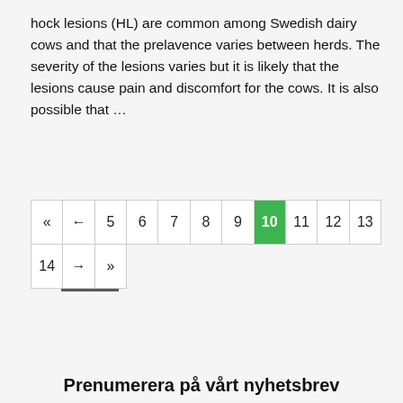hock lesions (HL) are common among Swedish dairy cows and that the prelavence varies between herds. The severity of the lesions varies but it is likely that the lesions cause pain and discomfort for the cows. It is also possible that …
Läs mer
| « | ← | 5 | 6 | 7 | 8 | 9 | 10 | 11 | 12 | 13 |
| 14 | → | » |
Prenumerera på vårt nyhetsbrev